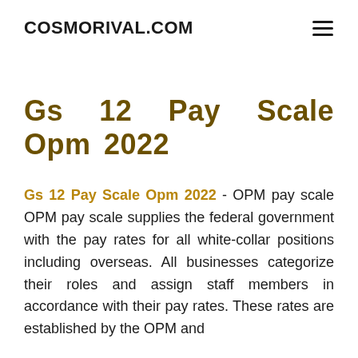COSMORIVAL.COM
Gs 12 Pay Scale Opm 2022
Gs 12 Pay Scale Opm 2022 - OPM pay scale OPM pay scale supplies the federal government with the pay rates for all white-collar positions including overseas. All businesses categorize their roles and assign staff members in accordance with their pay rates. These rates are established by the OPM and